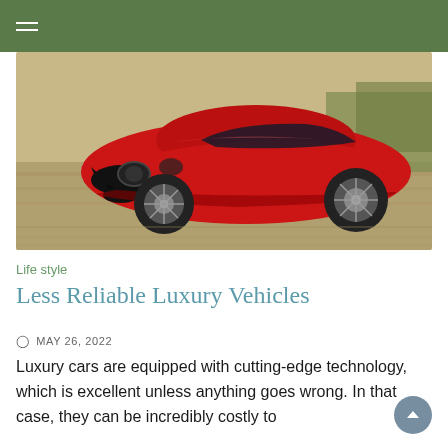[Figure (photo): Red Alfa Romeo sports car driving on a road at speed, photographed from a low front-three-quarter angle with motion blur on the background. The car is a glossy red color with distinctive circular headlights and aggressive front styling.]
Life style
Less Reliable Luxury Vehicles
◎ MAY 26, 2022
Luxury cars are equipped with cutting-edge technology, which is excellent unless anything goes wrong. In that case, they can be incredibly costly to